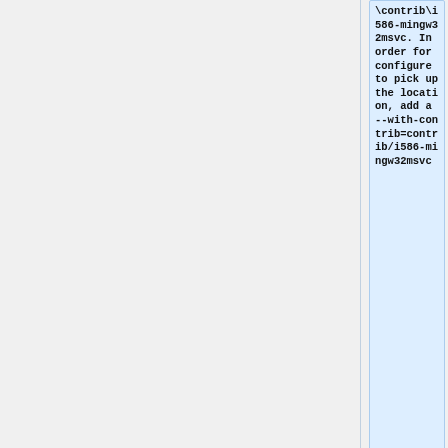\contrib\i586-mingw32msvc. In order for configure to pick up the location, add a --with-contrib=contrib/i586-mingw32msvc
sh extras/package/win32/configure.sh --host=i586-pc-mingw32msvc --with-contrib=contrib/i586-mingw32msvc --disable-nls